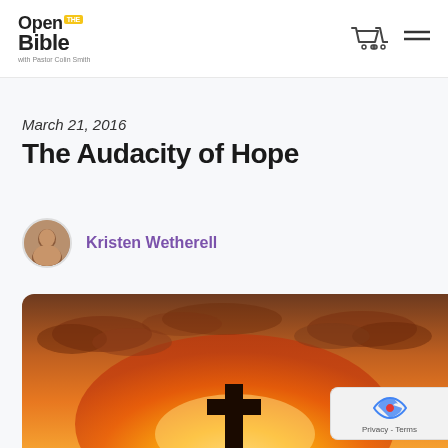Open The Bible with Pastor Colin Smith
March 21, 2016
The Audacity of Hope
Kristen Wetherell
[Figure (photo): Golden sunset sky with dramatic clouds and a dark cross/sign silhouette visible at the bottom center of the image]